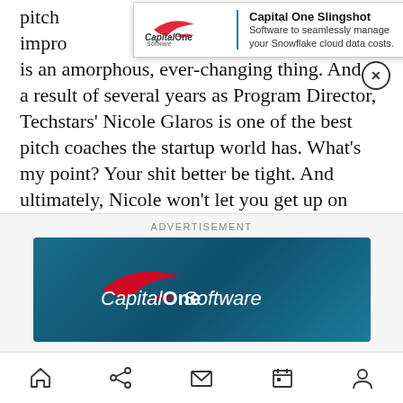pitch ... be impro... its infancy is an amorphous, ever-changing thing. And as a result of several years as Program Director, Techstars' Nicole Glaros is one of the best pitch coaches the startup world has. What's my point? Your shit better be tight. And ultimately, Nicole won't let you get up on stage unless it is. This alone is a huge motivator to spend late nights, early mornings, and weekends working on your script and deck.
[Figure (screenshot): Capital One Slingshot ad banner overlay at top: logo on left, blue divider, text 'Capital One Slingshot - Software to seamlessly manage your Snowflake cloud data costs.' with close X button]
ADVERTISEMENT
[Figure (screenshot): Capital One Software advertisement banner with teal/dark blue gradient background and Capital One Software logo in white]
Bottom navigation bar with home, share, mail, bookmark, and profile icons